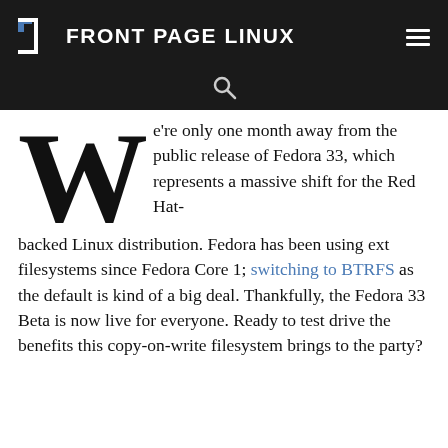FRONT PAGE LINUX
We're only one month away from the public release of Fedora 33, which represents a massive shift for the Red Hat-backed Linux distribution. Fedora has been using ext filesystems since Fedora Core 1; switching to BTRFS as the default is kind of a big deal. Thankfully, the Fedora 33 Beta is now live for everyone. Ready to test drive the benefits this copy-on-write filesystem brings to the party?